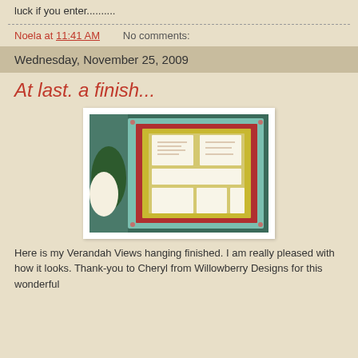luck if you enter..........
Noela at 11:41 AM    No comments:
Wednesday, November 25, 2009
At last. a finish...
[Figure (photo): A quilted wall hanging called Verandah Views, featuring embroidered panels arranged in a patchwork layout with red sashing and floral fabric borders, photographed on a chair.]
Here is my Verandah Views hanging finished. I am really pleased with how it looks. Thank-you to Cheryl from Willowberry Designs for this wonderful